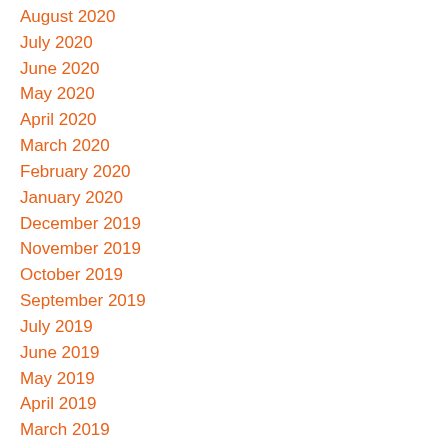August 2020
July 2020
June 2020
May 2020
April 2020
March 2020
February 2020
January 2020
December 2019
November 2019
October 2019
September 2019
July 2019
June 2019
May 2019
April 2019
March 2019
February 2019
January 2019
December 2018